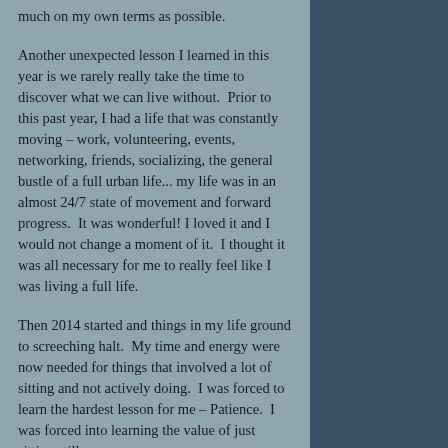much on my own terms as possible.
Another unexpected lesson I learned in this year is we rarely really take the time to discover what we can live without.  Prior to this past year, I had a life that was constantly moving – work, volunteering, events, networking, friends, socializing, the general bustle of a full urban life... my life was in an almost 24/7 state of movement and forward progress.  It was wonderful! I loved it and I would not change a moment of it.  I thought it was all necessary for me to really feel like I was living a full life.
Then 2014 started and things in my life ground to screeching halt.  My time and energy were now needed for things that involved a lot of sitting and not actively doing.  I was forced to learn the hardest lesson for me – Patience.  I was forced into learning the value of just sitting still.